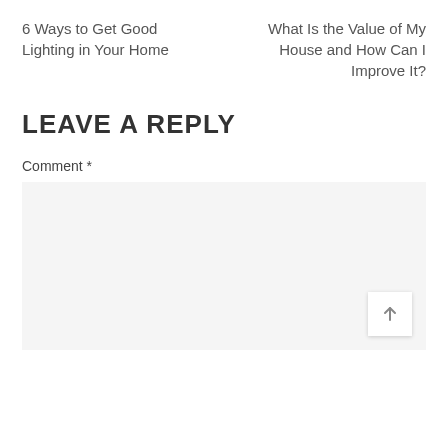6 Ways to Get Good Lighting in Your Home
What Is the Value of My House and How Can I Improve It?
LEAVE A REPLY
Comment *
[Figure (other): Comment text area input box with a scroll-to-top button (up arrow) in the bottom right corner]